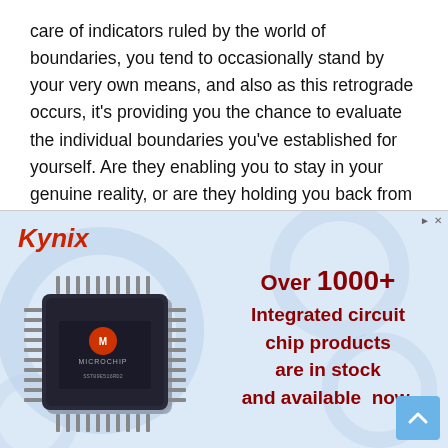care of indicators ruled by the world of boundaries, you tend to occasionally stand by your very own means, and also as this retrograde occurs, it's providing you the chance to evaluate the individual boundaries you've established for yourself. Are they enabling you to stay in your genuine reality, or are they holding you back from being exactly who you are? Borders are very important, however, a lot of them can impede you. This month is the perfect time to try out personal freedom and liberation.
[Figure (infographic): Kynix advertisement banner with a Microchip branded integrated circuit chip image on the left and advertising text on the right reading 'Over 1000+ Integrated circuit chip products are in stock and available now.' The Kynix logo appears in red italic bold font at the top left of the ad.]